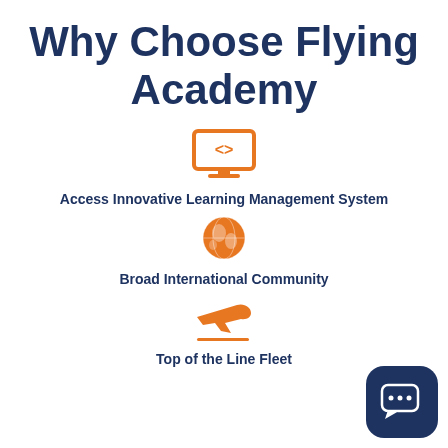Why Choose Flying Academy
[Figure (infographic): Orange laptop/monitor icon with code brackets on screen]
Access Innovative Learning Management System
[Figure (infographic): Orange globe/world icon]
Broad International Community
[Figure (infographic): Orange airplane takeoff icon with line beneath]
Top of the Line Fleet
[Figure (infographic): Dark navy chat bubble icon with three dots, rounded square shape, bottom right corner]